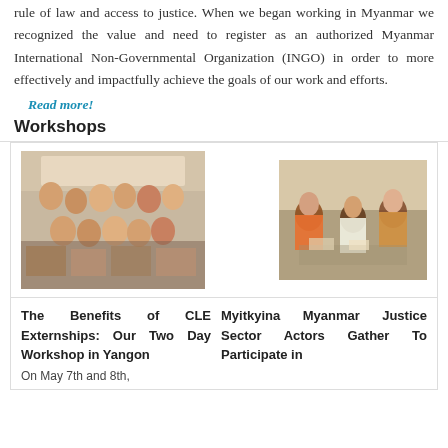rule of law and access to justice. When we began working in Myanmar we recognized the value and need to register as an authorized Myanmar International Non-Governmental Organization (INGO) in order to more effectively and impactfully achieve the goals of our work and efforts.
Read more!
Workshops
[Figure (photo): Group photo of workshop participants at a CLE Externships workshop in Yangon]
[Figure (photo): Participants working at tables at Myitkyina Myanmar Justice Sector workshop]
The Benefits of CLE Externships: Our Two Day Workshop in Yangon
On May 7th and 8th,
Myitkyina Myanmar Justice Sector Actors Gather To Participate in